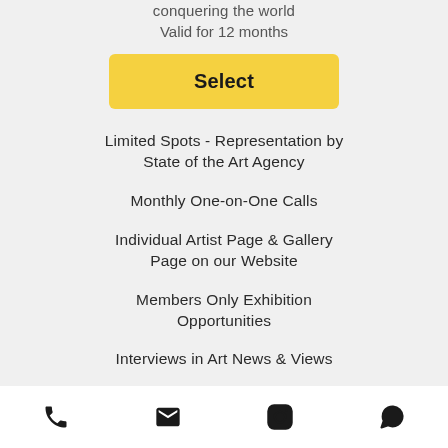conquering the world
Valid for 12 months
Select
Limited Spots - Representation by State of the Art Agency
Monthly One-on-One Calls
Individual Artist Page & Gallery Page on our Website
Members Only Exhibition Opportunities
Interviews in Art News & Views
Phone, Email, Instagram, WhatsApp icons